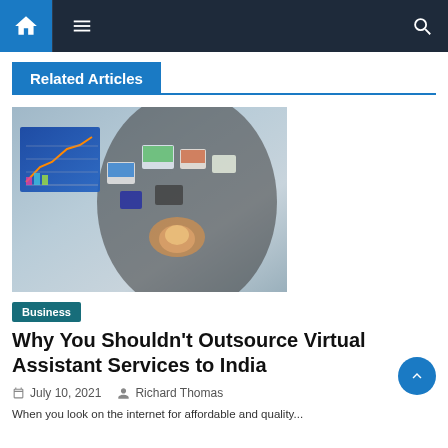Navigation bar with home, menu, and search icons
Related Articles
[Figure (photo): Person in business suit holding digital media icons floating above hand, with a chart/graph screen visible on the left]
Business
Why You Shouldn't Outsource Virtual Assistant Services to India
July 10, 2021   Richard Thomas
When you look on the internet for affordable and quality...